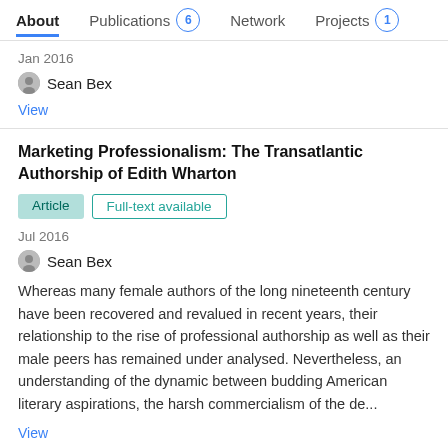About  Publications 6  Network  Projects 1
Jan 2016
Sean Bex
View
Marketing Professionalism: The Transatlantic Authorship of Edith Wharton
Article  Full-text available
Jul 2016
Sean Bex
Whereas many female authors of the long nineteenth century have been recovered and revalued in recent years, their relationship to the rise of professional authorship as well as their male peers has remained under analysed. Nevertheless, an understanding of the dynamic between budding American literary aspirations, the harsh commercialism of the de...
View